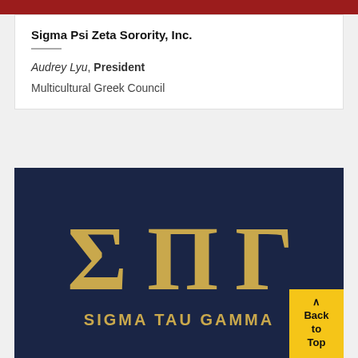Sigma Psi Zeta Sorority, Inc.
Audrey Lyu, President
Multicultural Greek Council
[Figure (logo): Sigma Tau Gamma logo with Greek letters Sigma, Tau, Gamma in gold on a dark navy background, with text SIGMA TAU GAMMA below]
^ Back to Top